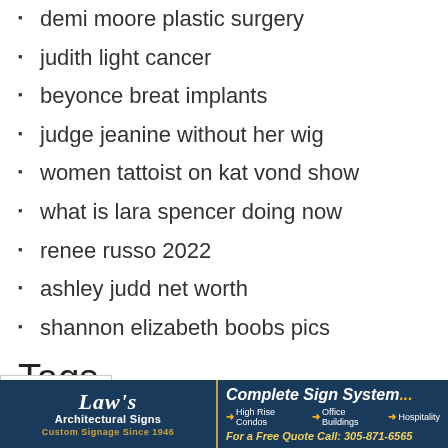demi moore plastic surgery
judith light cancer
beyonce breat implants
judge jeanine without her wig
women tattoist on kat vond show
what is lara spencer doing now
renee russo 2022
ashley judd net worth
shannon elizabeth boobs pics
Tags
augmentation blepharoplasty boob botox
[Figure (other): Advertisement banner for Law's Architectural Signs - Complete Sign Systems. High Rise Condos, Office Buildings, Hospitality. For a Free Quote Call: 305-871-6565]